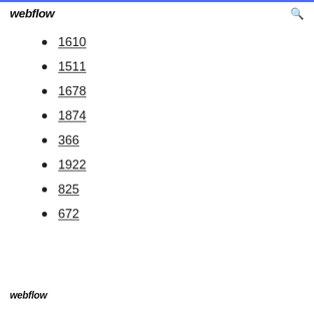webflow
1610
1511
1678
1874
366
1922
825
672
webflow